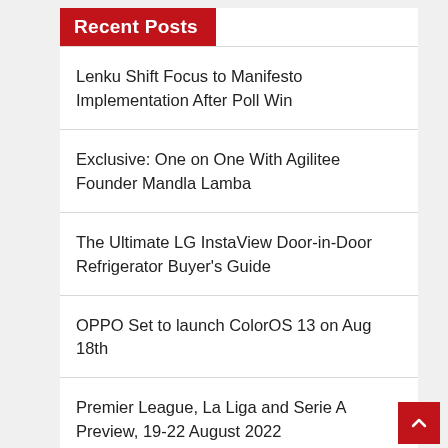Recent Posts
Lenku Shift Focus to Manifesto Implementation After Poll Win
Exclusive: One on One With Agilitee Founder Mandla Lamba
The Ultimate LG InstaView Door-in-Door Refrigerator Buyer's Guide
OPPO Set to launch ColorOS 13 on Aug 18th
Premier League, La Liga and Serie A Preview, 19-22 August 2022